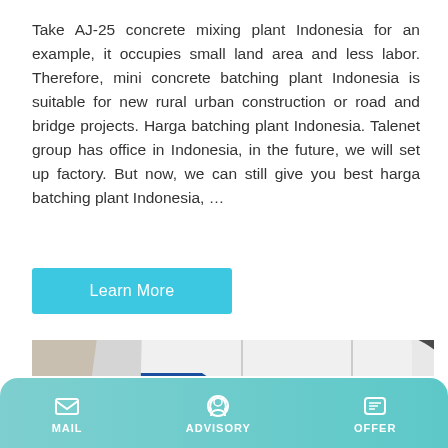Take AJ-25 concrete mixing plant Indonesia for an example, it occupies small land area and less labor. Therefore, mini concrete batching plant Indonesia is suitable for new rural urban construction or road and bridge projects. Harga batching plant Indonesia. Talenet group has office in Indonesia, in the future, we will set up factory. But now, we can still give you best harga batching plant Indonesia, …
Learn More
[Figure (photo): A white and blue concrete batching/pumping machine parked outside an industrial building. The machine has a large white body with a blue stripe running horizontally, a hopper on the left, a curved exhaust pipe on top, and sits on a wheeled chassis.]
MAIL   ADVISORY   OFFER